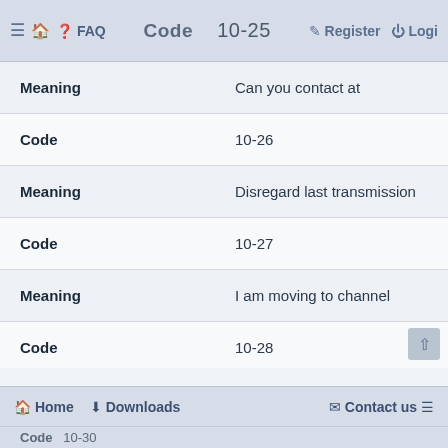Code  10-25  ≡  🏠  ? FAQ   Register  Login
| Field | Value |
| --- | --- |
| Meaning | Can you contact at |
| Code | 10-26 |
| Meaning | Disregard last transmission |
| Code | 10-27 |
| Meaning | I am moving to channel |
| Code | 10-28 |
| Meaning | Identify your station |
| Code | 10-29 |
| Meaning | Time is up for contact |
🏠 Home  ⬇ Downloads   ✉ Contact us ≡
Code  10-30